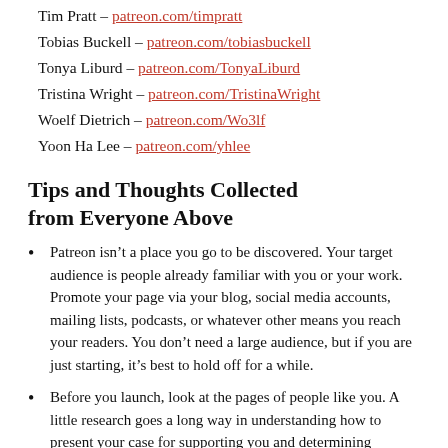Tim Pratt – patreon.com/timpratt
Tobias Buckell – patreon.com/tobiasbuckell
Tonya Liburd – patreon.com/TonyaLiburd
Tristina Wright – patreon.com/TristinaWright
Woelf Dietrich – patreon.com/Wo3lf
Yoon Ha Lee – patreon.com/yhlee
Tips and Thoughts Collected from Everyone Above
Patreon isn't a place you go to be discovered. Your target audience is people already familiar with you or your work. Promote your page via your blog, social media accounts, mailing lists, podcasts, or whatever other means you reach your readers. You don't need a large audience, but if you are just starting, it's best to hold off for a while.
Before you launch, look at the pages of people like you. A little research goes a long way in understanding how to present your case for supporting you and determining